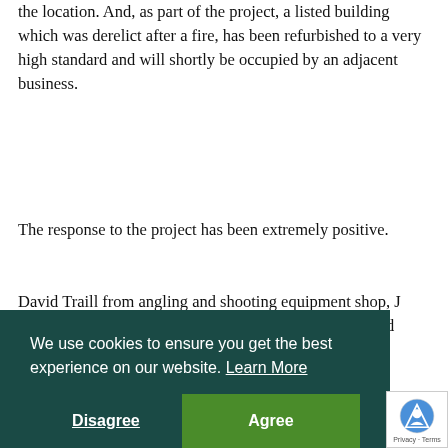the location. And, as part of the project, a listed building which was derelict after a fire, has been refurbished to a very high standard and will shortly be occupied by an adjacent business.
The response to the project has been extremely positive.
David Traill from angling and shooting equipment shop, J Graham & Co on Castle Street, said: We are very excited about the new Raining's Stairs development which has regenerated what used to... It's great to... as well as new blood coming into the area.
Café 1's Norman Macdonald: We very much welcome the new development. It is already...
We use cookies to ensure you get the best experience on our website. Learn More